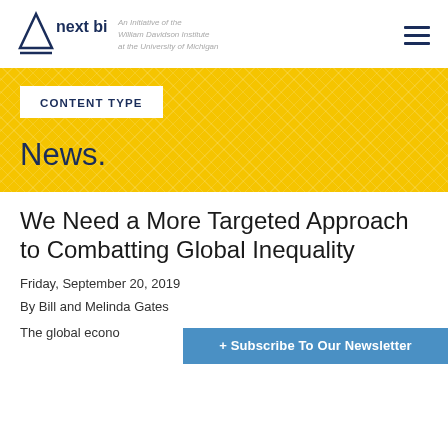next billion — An Initiative of the William Davidson Institute at the University of Michigan
CONTENT TYPE
News.
We Need a More Targeted Approach to Combatting Global Inequality
Friday, September 20, 2019
By Bill and Melinda Gates
The global econo...
+ Subscribe To Our Newsletter